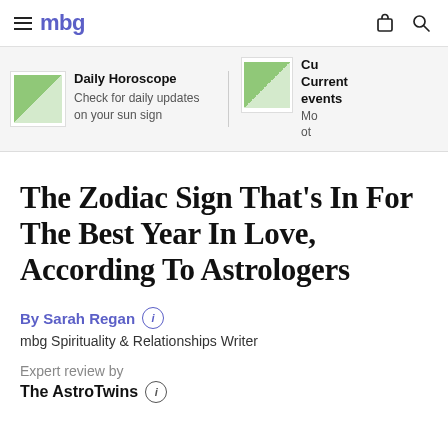mbg
[Figure (screenshot): Navigation strip showing Daily Horoscope and Current events links with thumbnail images]
The Zodiac Sign That's In For The Best Year In Love, According To Astrologers
By Sarah Regan
mbg Spirituality & Relationships Writer
Expert review by
The AstroTwins